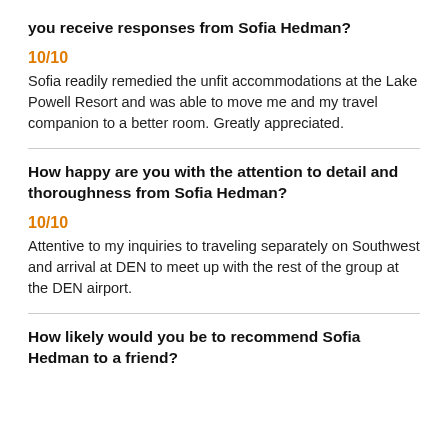you receive responses from Sofia Hedman?
10/10
Sofia readily remedied the unfit accommodations at the Lake Powell Resort and was able to move me and my travel companion to a better room. Greatly appreciated.
How happy are you with the attention to detail and thoroughness from Sofia Hedman?
10/10
Attentive to my inquiries to traveling separately on Southwest and arrival at DEN to meet up with the rest of the group at the DEN airport.
How likely would you be to recommend Sofia Hedman to a friend?